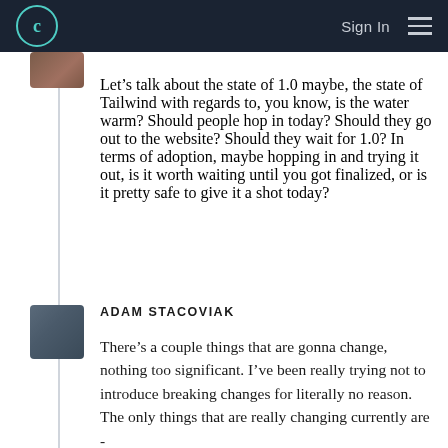C  Sign In  ☰
Let’s talk about the state of 1.0 maybe, the state of Tailwind with regards to, you know, is the water warm? Should people hop in today? Should they go out to the website? Should they wait for 1.0? In terms of adoption, maybe hopping in and trying it out, is it worth waiting until you got finalized, or is it pretty safe to give it a shot today?
ADAM STACOVIAK
There’s a couple things that are gonna change, nothing too significant. I’ve been really trying not to introduce breaking changes for literally no reason. The only things that are really changing currently are - the config file structure is changing in...